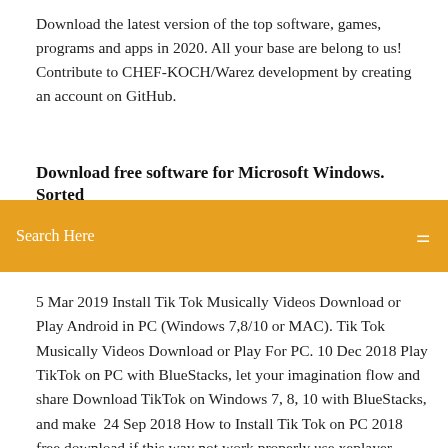Download the latest version of the top software, games, programs and apps in 2020. All your base are belong to us! Contribute to CHEF-KOCH/Warez development by creating an account on GitHub.
Download free software for Microsoft Windows. Sorted
[Figure (other): Orange search bar with 'Search Here' text in white and a small icon on the right]
5 Mar 2019 Install Tik Tok Musically Videos Download or Play Android in PC (Windows 7,8/10 or MAC). Tik Tok Musically Videos Download or Play For PC. 10 Dec 2018 Play TikTok on PC with BlueStacks, let your imagination flow and share Download TikTok on Windows 7, 8, 10 with BlueStacks, and make  24 Sep 2018 How to Install Tik Tok on PC 2018 free download if this way not work properly use xeplayer android emulator  Tik Tok pc app for windows 7 8 10 phone Download Free. tik tok is one of the more viral apps that almost every young adult has on their